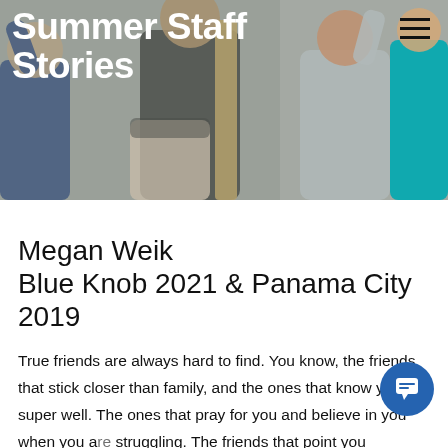[Figure (photo): Hero banner photo of several people in a group, with large white bold text overlaid reading 'Summer Staff Stories'. A hamburger menu icon is visible in the top right.]
Megan Weik Blue Knob 2021 & Panama City 2019
True friends are always hard to find. You know, the friends that stick closer than family, and the ones that know you super well. The ones that pray for you and believe in you when you are struggling. The friends that point you constantly to the Lord and